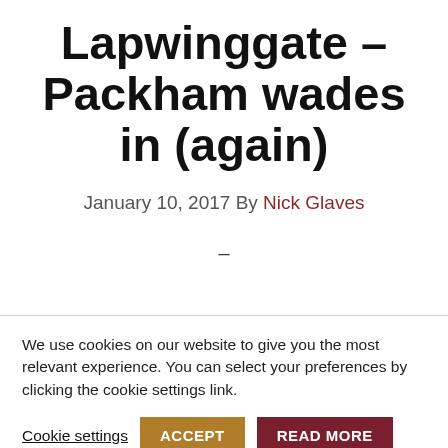Lapwinggate – Packham wades in (again)
January 10, 2017 By Nick Glaves
–
We use cookies on our website to give you the most relevant experience. You can select your preferences by clicking the cookie settings link.
Cookie settings  ACCEPT  READ MORE